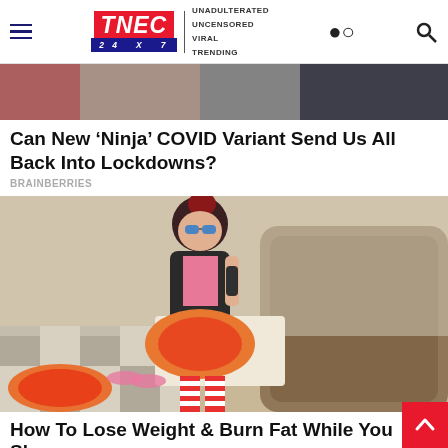TNEC 24X7 — UNADULTERATED UNCENSORED VIRAL TRENDING
[Figure (photo): Cropped top portion of a news article hero image, showing colorful background]
Can New ‘Ninja’ COVID Variant Send Us All Back Into Lockdowns?
BRAINBERRIES
[Figure (photo): Young woman with red hair bun and blue sunglasses lounging on a brown tufted chair, wearing a pink top and leather jacket, eating pizza from a box and drinking from a can, with red and white striped socks/stockings and another pizza on the floor beside her]
How To Lose Weight & Burn Fat While You Sleep
HERBEAUTY